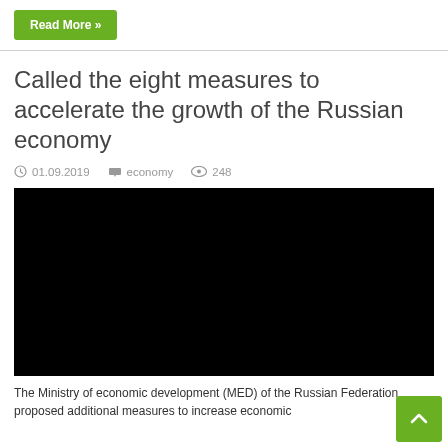Read More »
Called the eight measures to accelerate the growth of the Russian economy
01.09.2019   economy   248
[Figure (photo): Black image placeholder for video or photo embedded in the article]
The Ministry of economic development (MED) of the Russian Federation proposed additional measures to increase economic